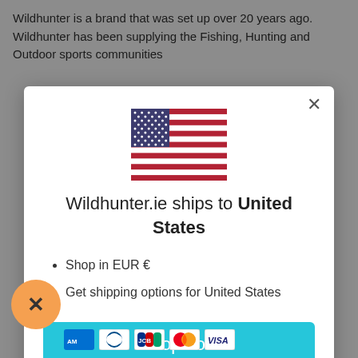Wildhunter is a brand that was set up over 20 years ago. Wildhunter has been supplying the Fishing, Hunting and Outdoor sports communities
[Figure (screenshot): Modal dialog popup showing a US flag, heading 'Wildhunter.ie ships to United States', bullet points listing 'Shop in EUR €' and 'Get shipping options for United States', a cyan 'Shop now' button, and a 'Change shipping country' link. An orange circular close button with X is at the bottom-left corner. Payment icons (Amex, Diners, JCB, Mastercard, Visa) appear at the bottom.]
Wildhunter.ie ships to United States
Shop in EUR €
Get shipping options for United States